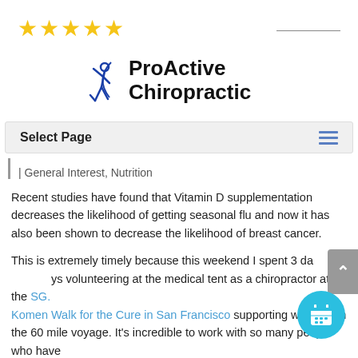[Figure (logo): Five gold stars rating and a horizontal line on the right side]
[Figure (logo): ProActive Chiropractic logo with blue running figure and text]
Select Page (navigation bar with hamburger menu icon)
| General Interest, Nutrition
Recent studies have found that Vitamin D supplementation decreases the likelihood of getting seasonal flu and now it has also been shown to decrease the likelihood of breast cancer.
This is extremely timely because this weekend I spent 3 days volunteering at the medical tent as a chiropractor at the Susan G. Komen Walk for the Cure in San Francisco supporting walkers on the 60 mile voyage. It's incredible to work with so many people who have